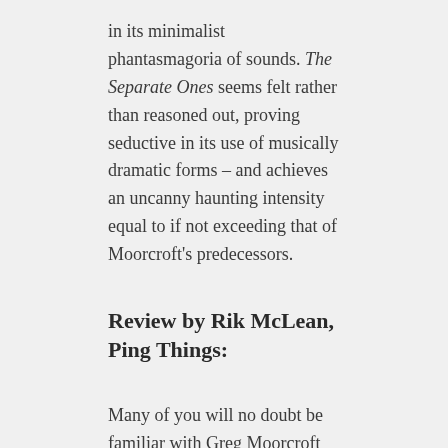in its minimalist phantasmagoria of sounds. The Separate Ones seems felt rather than reasoned out, proving seductive in its use of musically dramatic forms – and achieves an uncanny haunting intensity equal to if not exceeding that of Moorcroft's predecessors.
Review by Rik McLean, Ping Things:
Many of you will no doubt be familiar with Greg Moorcroft for his passionate support of the ambient scene in a variety of forums, in particular his work with the Relaxed Machinery community. Over the years I've known him, Greg has proven to be an all around nice guy and a very talented musician as evidenced by his